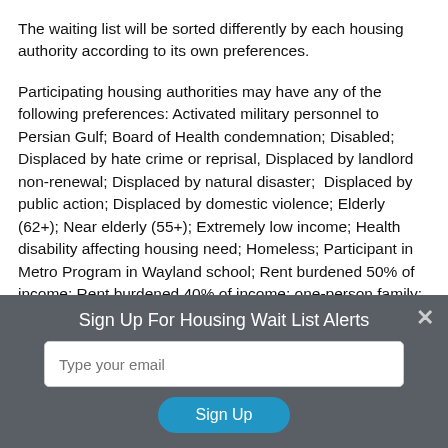The waiting list will be sorted differently by each housing authority according to its own preferences.
Participating housing authorities may have any of the following preferences: Activated military personnel to Persian Gulf; Board of Health condemnation; Disabled; Displaced by hate crime or reprisal, Displaced by landlord non-renewal; Displaced by natural disaster;  Displaced by public action; Displaced by domestic violence; Elderly (62+); Near elderly (55+); Extremely low income; Health disability affecting housing need; Homeless; Participant in Metro Program in Wayland school; Rent burdened 50% of income; Rent burdened 40% of income; one-person family; substandard housing; tenants of
Sign Up For Housing Wait List Alerts
Type your email
Sign Up